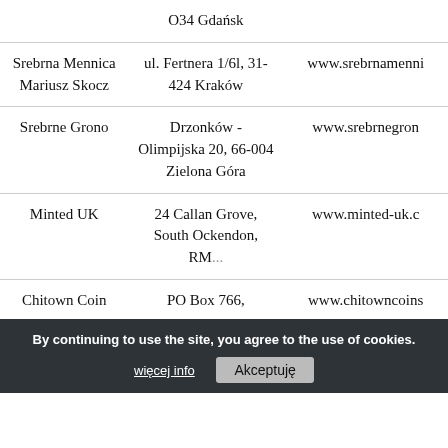| Name | Address | Website |
| --- | --- | --- |
|  | O34 Gdańsk |  |
| Srebrna Mennica Mariusz Skocz | ul. Fertnera 1/6l, 31-424 Kraków | www.srebrnamenni... |
| Srebrne Grono | Drzonków - Olimpijska 20, 66-004 Zielona Góra | www.srebrnegron... |
| Minted UK | 24 Callan Grove, South Ockendon, RM... | www.minted-uk.c... |
| Chitown Coin | PO Box 766, | www.chitowncoins... |
By continuing to use the site, you agree to the use of cookies. więcej info | Akceptuję